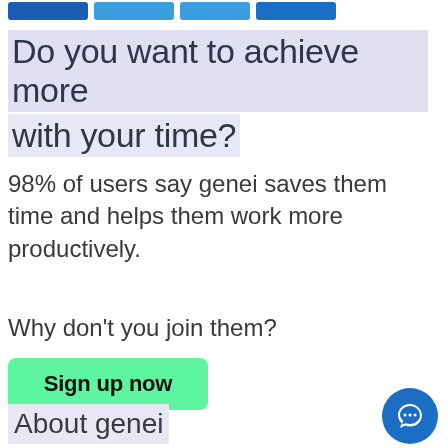[navigation bar with buttons]
Do you want to achieve more with your time?
98% of users say genei saves them time and helps them work more productively.
Why don't you join them?
Sign up now
About genei